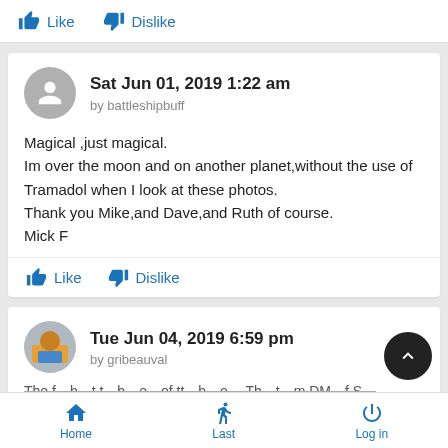Like  Dislike
Sat Jun 01, 2019 1:22 am
by battleshipbuff
Magical ,just magical.
Im over the moon and on another planet,without the use of Tramadol when I look at these photos.
Thank you Mike,and Dave,and Ruth of course.
Mick F
Like  Dislike
Tue Jun 04, 2019 6:59 pm
by gribeauval
Home  Last  Log in